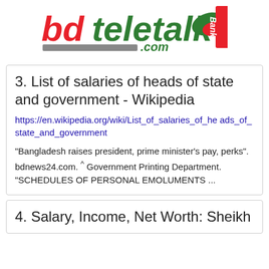[Figure (logo): bdteletalk.com Bank logo with red 'bd', green 'teletalk', swoosh graphic, gray bar, .com text, and red 'Bank' badge]
3. List of salaries of heads of state and government - Wikipedia
https://en.wikipedia.org/wiki/List_of_salaries_of_heads_of_state_and_government
"Bangladesh raises president, prime minister's pay, perks". bdnews24.com. ^ Government Printing Department. "SCHEDULES OF PERSONAL EMOLUMENTS ...
4. Salary, Income, Net Worth: Sheikh